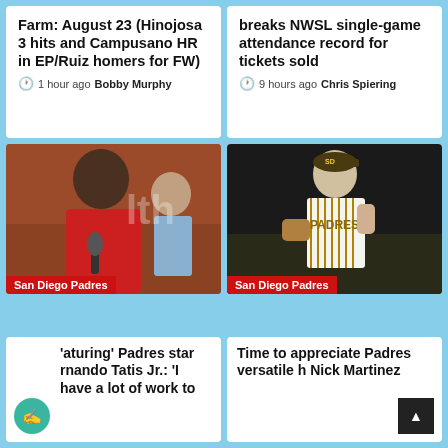Farm: August 23 (Hinojosa 3 hits and Campusano HR in EP/Ruiz homers for FW)
1 hour ago  Bobby Murphy
breaks NWSL single-game attendance record for tickets sold
9 hours ago  Chris Spiering
[Figure (photo): San Diego Padres player in red shirt being interviewed with microphones]
[Figure (photo): San Diego Padres pitcher in white pinstripe uniform celebrating on mound]
'aturing' Padres star rnando Tatis Jr.: 'I have a lot of work to
Time to appreciate Padres versatile h Nick Martinez